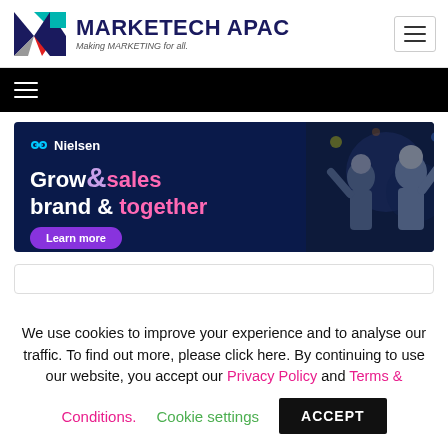[Figure (logo): Marketech APAC logo with geometric M shape in navy, teal, red, gray and brand name text]
[Figure (screenshot): Nielsen advertisement banner: 'Grow brand & sales together' with Learn more button]
We use cookies to improve your experience and to analyse our traffic. To find out more, please click here. By continuing to use our website, you accept our Privacy Policy and Terms & Conditions.
Cookie settings
ACCEPT